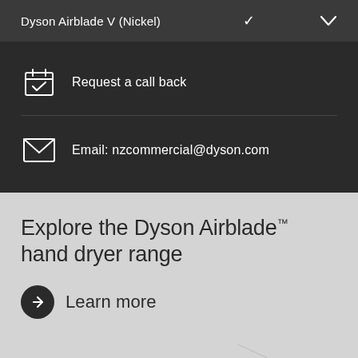Dyson Airblade V (Nickel)
Request a call back
Email: nzcommercial@dyson.com
Explore the Dyson Airblade™ hand dryer range
Learn more